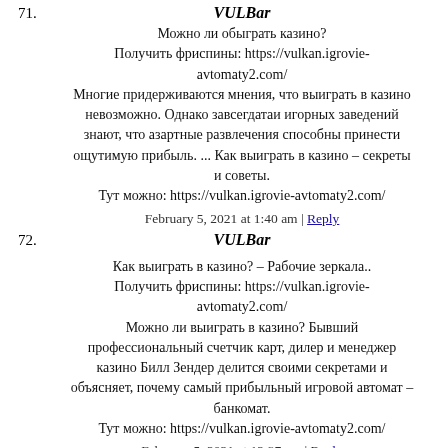71. VULBar
Можно ли обыграть казино?
Получить фриспины: https://vulkan.igrovie-avtomaty2.com/
Многие придерживаются мнения, что выиграть в казино невозможно. Однако завсегдатаи игорных заведений знают, что азартные развлечения способны принести ощутимую прибыль. ... Как выиграть в казино – секреты и советы.
Тут можно: https://vulkan.igrovie-avtomaty2.com/
February 5, 2021 at 1:40 am | Reply
72. VULBar
Как выиграть в казино? – Рабочие зеркала..
Получить фриспины: https://vulkan.igrovie-avtomaty2.com/
Можно ли выиграть в казино? Бывший профессиональный счетчик карт, дилер и менеджер казино Билл Зендер делится своими секретами и объясняет, почему самый прибыльный игровой автомат – банкомат.
Тут можно: https://vulkan.igrovie-avtomaty2.com/
February 5, 2021 at 12:37 am | Reply